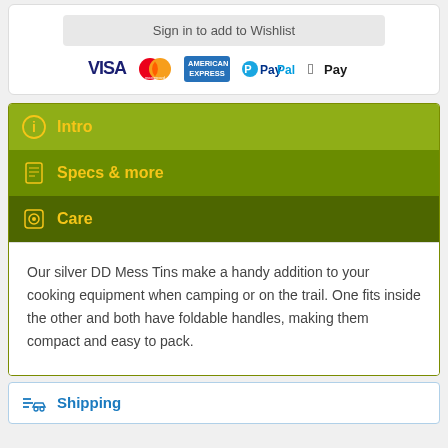Sign in to add to Wishlist
[Figure (logo): Payment method logos: VISA, Mastercard, American Express, PayPal, Apple Pay]
Intro
Specs & more
Care
Our silver DD Mess Tins make a handy addition to your cooking equipment when camping or on the trail. One fits inside the other and both have foldable handles, making them compact and easy to pack.
Shipping